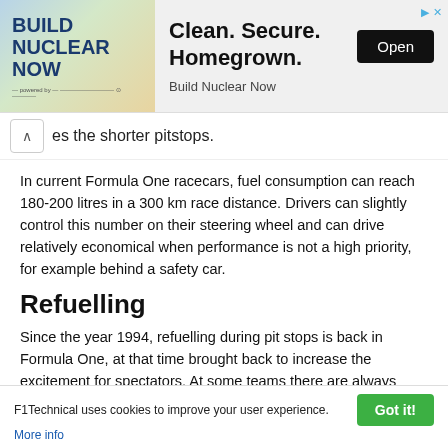[Figure (other): Advertisement banner for 'Build Nuclear Now' campaign with text 'Clean. Secure. Homegrown.' and an Open button]
es the shorter pitstops.
In current Formula One racecars, fuel consumption can reach 180-200 litres in a 300 km race distance. Drivers can slightly control this number on their steering wheel and can drive relatively economical when performance is not a high priority, for example behind a safety car.
Refuelling
Since the year 1994, refuelling during pit stops is back in Formula One, at that time brought back to increase the excitement for spectators. At some teams there are always three people available to refuel the car. The first one is the
F1Technical uses cookies to improve your user experience. More info  Got it!